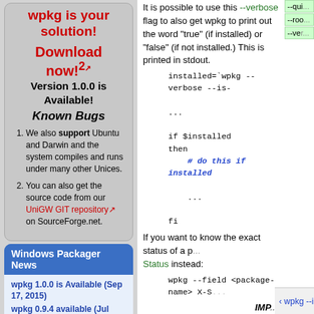wpkg is your solution!
Download now!²
Version 1.0.0 is Available!
Known Bugs
We also support Ubuntu and Darwin and the system compiles and runs under many other Unices.
You can also get the source code from our UniGW GIT repository on SourceForge.net.
Windows Packager News
wpkg 1.0.0 is Available (Sep 17, 2015)
wpkg 0.9.4 available (Jul
It is possible to use this --verbose flag to also get wpkg to print out the word "true" (if installed) or "false" (if not installed.) This is printed in stdout.
If you want to know the exact status of a p... Status instead:
IMP...
The --status command in version 0.9.0 a... command. In older versions it would prin...
‹ wpkg --interactive [console|gui] ...